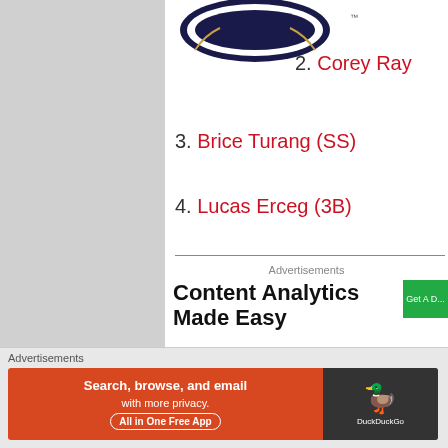[Figure (logo): Baseball team logo partially visible at top]
2. Corey Ray
3. Brice Turang (SS)
4. Lucas Erceg (3B)
Advertisements
[Figure (screenshot): Advertisement: Content Analytics Made Easy with green Get A Demo button]
5. Mauricio Dubon (SS)
6. Tristen Lutz (OF)
Advertisements
[Figure (screenshot): DuckDuckGo advertisement: Search, browse, and email with more privacy. All in One Free App]